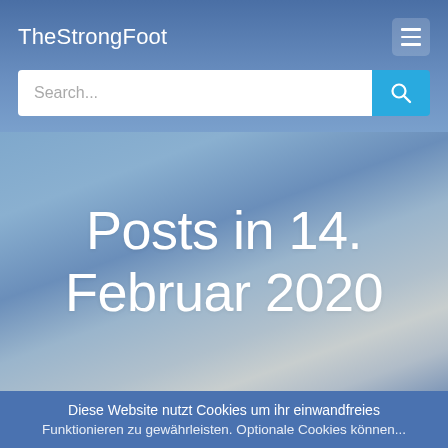TheStrongFoot
Posts in 14. Februar 2020
Diese Website nutzt Cookies um ihr einwandfreies Funktionieren zu gewährleisten. Optionale Cookies können...